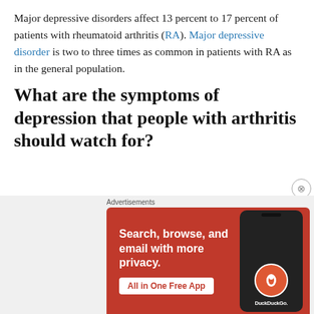Major depressive disorders affect 13 percent to 17 percent of patients with rheumatoid arthritis (RA). Major depressive disorder is two to three times as common in patients with RA as in the general population.
What are the symptoms of depression that people with arthritis should watch for?
[Figure (other): DuckDuckGo advertisement banner with orange background showing 'Search, browse, and email with more privacy. All in One Free App' alongside a phone mockup displaying the DuckDuckGo logo.]